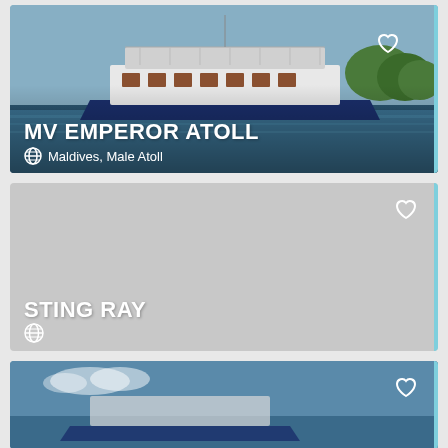[Figure (photo): Photo of MV Emperor Atoll boat on water with tropical trees in background. Blue hull, white upper deck, sunny day.]
MV EMPEROR ATOLL
Maldives, Male Atoll
[Figure (photo): Placeholder gray image for Sting Ray vessel listing.]
STING RAY
[Figure (photo): Partial photo showing blue water and sky, third vessel card partially visible at bottom of page.]